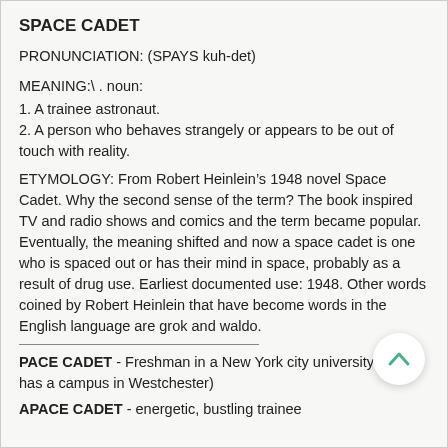SPACE CADET
PRONUNCIATION: (SPAYS kuh-det)
MEANING:\ . noun:
1. A trainee astronaut.
2. A person who behaves strangely or appears to be out of touch with reality.
ETYMOLOGY: From Robert Heinlein’s 1948 novel Space Cadet. Why the second sense of the term? The book inspired TV and radio shows and comics and the term became popular. Eventually, the meaning shifted and now a space cadet is one who is spaced out or has their mind in space, probably as a result of drug use. Earliest documented use: 1948. Other words coined by Robert Heinlein that have become words in the English language are grok and waldo.
PACE CADET - Freshman in a New York city university (it also has a campus in Westchester)
APACE CADET - energetic, bustling trainee